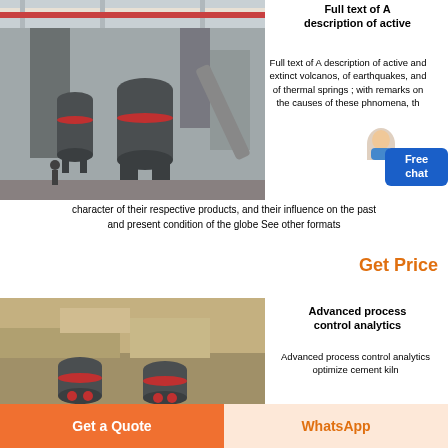[Figure (photo): Industrial grinding mill machines in a factory/warehouse setting with overhead crane structure visible]
Full text of A description of active
Full text of A description of active and extinct volcanos, of earthquakes, and of thermal springs ; with remarks on the causes of these phnomena, th character of their respective products, and their influence on the past and present condition of the globe See other formats
Get Price
[Figure (photo): Industrial grinding mill canisters placed on rocky/stone ground outdoors]
Advanced process control analytics
Advanced process control analytics optimize cement kiln